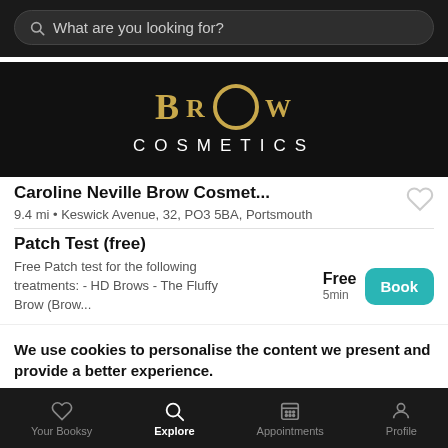What are you looking for?
[Figure (logo): Brow Cosmetics logo — gold stylized letters on black background with COSMETICS in white below]
Caroline Neville Brow Cosmet...
9.4 mi • Keswick Avenue, 32, PO3 5BA, Portsmouth
Patch Test (free)
Free Patch test for the following treatments: - HD Brows - The Fluffy Brow (Brow...
Free 5min
We use cookies to personalise the content we present and provide a better experience.
By clicking "ACCEPT" you agree to the use of cookies. You can find more information about how we use cookies here.
Your Booksy  Explore  Appointments  Profile